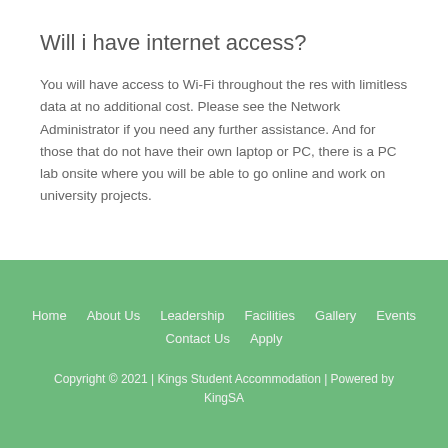Will i have internet access?
You will have access to Wi-Fi throughout the res with limitless data at no additional cost.  Please see the Network Administrator if you need any further assistance.  And for those that do not have their own laptop or PC, there is a PC lab onsite where you will be able to go online and work on university projects.
Home  About Us  Leadership  Facilities  Gallery  Events  Contact Us  Apply
Copyright © 2021 | Kings Student Accommodation | Powered by KingSA